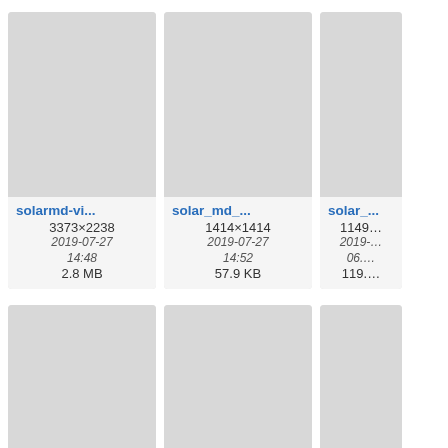[Figure (screenshot): File browser thumbnail grid showing image files. Row 1: solarmd-vi... (3373x2238, 2019-07-27 14:48, 2.8 MB), solar_md_... (1414x1414, 2019-07-27 14:52, 57.9 KB), solar_... (1149..., 2019-..., 06..., 119...KB). Row 2: ss3143-01... (1019x678, 2022-06-18 08:39, 335.7 KB), ss4143.png (843x824, 2022-06-18 08:32, 238.1 KB), two-si... (481x..., 2017-..., 16..., 16.8...). Row 3: partial cards visible at bottom.]